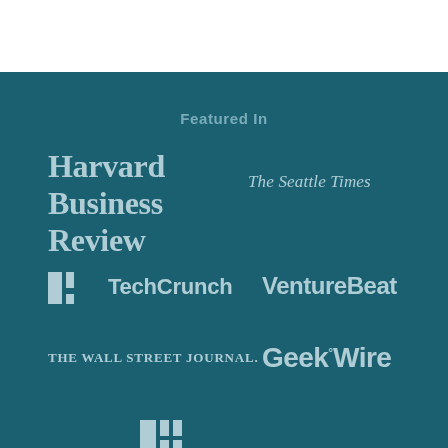Featured In
[Figure (logo): Harvard Business Review logo]
[Figure (logo): The Seattle Times logo]
[Figure (logo): TechCrunch logo]
[Figure (logo): VentureBeat logo]
[Figure (logo): The Wall Street Journal logo]
[Figure (logo): GeekWire logo]
[Figure (logo): Partial logo at bottom (cut off)]